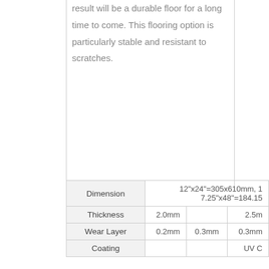result will be a durable floor for a long time to come. This flooring option is particularly stable and resistant to scratches.
| Dimension | 12"x24"=305x610mm, 17.25"x48"=184.15... |
| --- | --- |
| Thickness | 2.0mm |  | 2.5m |
| Wear Layer | 0.2mm | 0.3mm | 0.3mm |
| Coating |  |  | UV C |